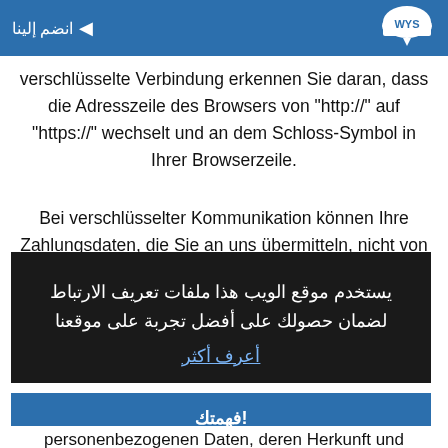انضم إلينا
verschlüsselte Verbindung erkennen Sie daran, dass die Adresszeile des Browsers von "http://" auf "https://" wechselt und an dem Schloss-Symbol in Ihrer Browserzeile.
Bei verschlüsselter Kommunikation können Ihre Zahlungsdaten, die Sie an uns übermitteln, nicht von
يستخدم موقع الويب هذا ملفات تعريف الارتباط لضمان حصولك على أفضل تجربة على موقعنا
أعرف أكثر
فهمتك!
personenbezogenen Daten, deren Herkunft und